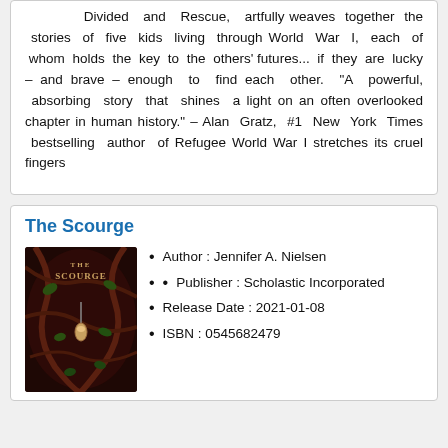Divided and Rescue, artfully weaves together the stories of five kids living through World War I, each of whom holds the key to the others' futures... if they are lucky – and brave – enough to find each other. "A powerful, absorbing story that shines a light on an often overlooked chapter in human history." -- Alan Gratz, #1 New York Times bestselling author of Refugee World War I stretches its cruel fingers
The Scourge
[Figure (illustration): Book cover of 'The Scourge' showing dark red/brown background with twisting vines and a small figure hanging, with the title text visible]
Author : Jennifer A. Nielsen
Publisher : Scholastic Incorporated
Release Date : 2021-01-08
ISBN : 0545682479